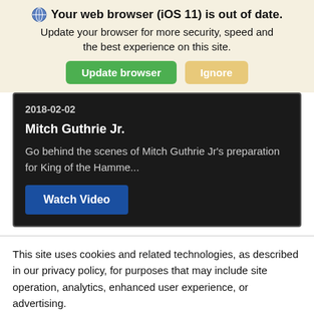Your web browser (iOS 11) is out of date.
Update your browser for more security, speed and the best experience on this site.
Update browser  Ignore
2018-02-02
Mitch Guthrie Jr.
Go behind the scenes of Mitch Guthrie Jr's preparation for King of the Hamme...
Watch Video
This site uses cookies and related technologies, as described in our privacy policy, for purposes that may include site operation, analytics, enhanced user experience, or advertising.
Manage Settings  Accept  Decline All